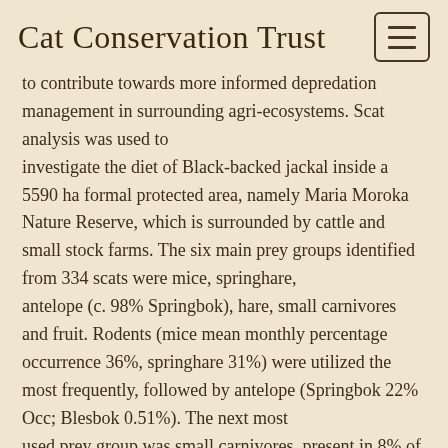Cat Conservation Trust
to contribute towards more informed depredation management in surrounding agri-ecosystems. Scat analysis was used to investigate the diet of Black-backed jackal inside a 5590 ha formal protected area, namely Maria Moroka Nature Reserve, which is surrounded by cattle and small stock farms. The six main prey groups identified from 334 scats were mice, springhare, antelope (c. 98% Springbok), hare, small carnivores and fruit. Rodents (mice mean monthly percentage occurrence 36%, springhare 31%) were utilized the most frequently, followed by antelope (Springbok 22% Occ; Blesbok 0.51%). The next most used prey group was small carnivores, present in 8% of scats. Hares and fruit, but also birds and invertebrates, were taken sporadically. No stock remains were found in the scats. Very similar results were obtained when volumetric contributions were